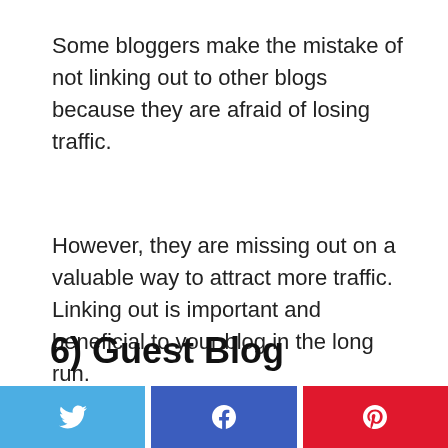Some bloggers make the mistake of not linking out to other blogs because they are afraid of losing traffic.
However, they are missing out on a valuable way to attract more traffic. Linking out is important and beneficial to your blog in the long run.
6) Guest Blog
[Figure (other): Three social sharing buttons: Twitter (blue), Facebook (dark blue), Pinterest (red)]